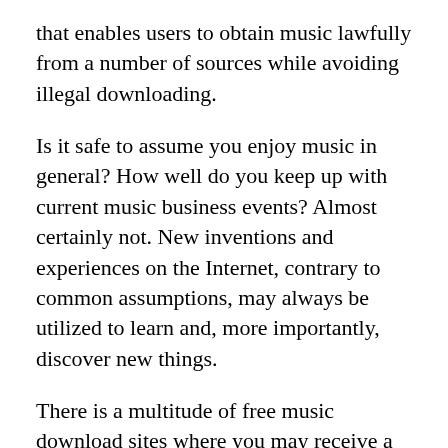that enables users to obtain music lawfully from a number of sources while avoiding illegal downloading.
Is it safe to assume you enjoy music in general? How well do you keep up with current music business events? Almost certainly not. New inventions and experiences on the Internet, contrary to common assumptions, may always be utilized to learn and, more importantly, discover new things.
There is a multitude of free music download sites where you may receive a broad variety of free mp3 music to download and add to your major expert on the internet in terms of music. Mp3clan's free music download site is one of the most impressive and widely available places to keep track of when your primary specialist is working on the next song or collection.